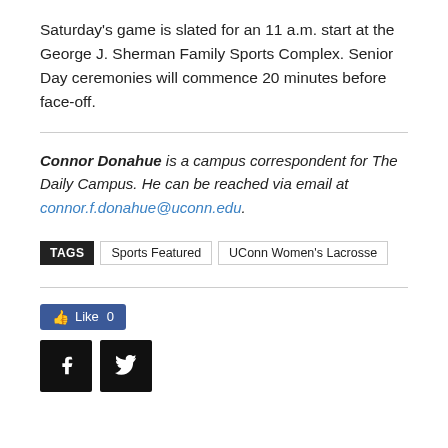Saturday's game is slated for an 11 a.m. start at the George J. Sherman Family Sports Complex. Senior Day ceremonies will commence 20 minutes before face-off.
Connor Donahue is a campus correspondent for The Daily Campus. He can be reached via email at connor.f.donahue@uconn.edu.
TAGS  Sports Featured  UConn Women's Lacrosse
[Figure (other): Facebook Like button showing 0 likes, and social share buttons for Facebook and Twitter]